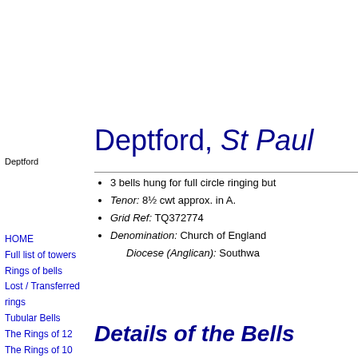Deptford
Deptford, St Paul
3 bells hung for full circle ringing but
Tenor: 8½ cwt approx. in A.
Grid Ref: TQ372774
Denomination: Church of England
Diocese (Anglican): Southwa
HOME
Full list of towers
Rings of bells
Lost / Transferred rings
Tubular Bells
The Rings of 12
The Rings of 10
Complete rings
List of new rings
Details of the Bells